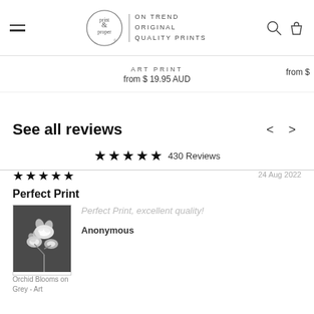print & proper | ON TREND ORIGINAL QUALITY PRINTS
ART PRINT from $ 19.95 AUD
See all reviews
★★★★★ 430 Reviews
★★★★★  24 Aug 2022
Perfect Print
[Figure (photo): Black and white photo of orchid blooms on grey background]
Perfect Print, excellent quality! Anonymous
Orchid Blooms on Grey - Art